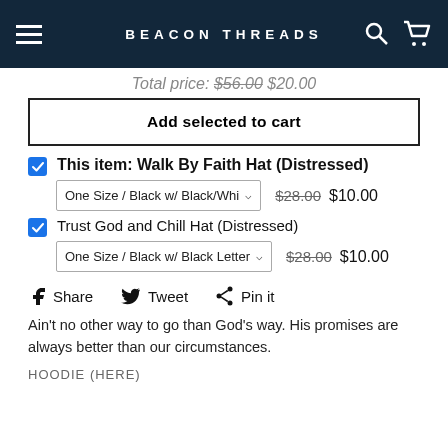BEACON THREADS
Total price: $56.00 $20.00
Add selected to cart
This item: Walk By Faith Hat (Distressed)
One Size / Black w/ Black/Whi  $28.00 $10.00
Trust God and Chill Hat (Distressed)
One Size / Black w/ Black Letter  $28.00 $10.00
Share   Tweet   Pin it
Ain't no other way to go than God's way. His promises are always better than our circumstances.
HOODIE (HERE)